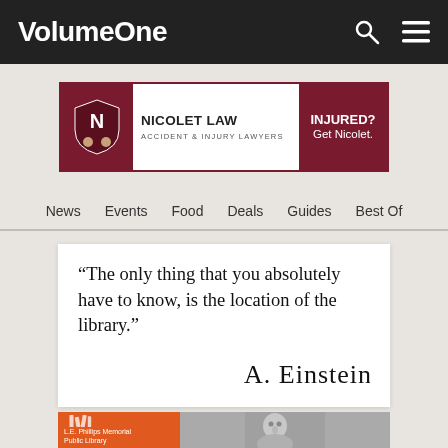VolumeOne
[Figure (infographic): Nicolet Law advertisement banner. Dark red border. Left: dark red shield with N logo and cartoon faces. Center: NICOLET LAW / ACCIDENT & INJURY LAWYERS. Right: dark red box with INJURED? Get Nicolet.]
News  Events  Food  Deals  Guides  Best Of
“The only thing that you absolutely have to know, is the location of the library.”  [A. Einstein signature]
[Figure (photo): Bottom strip: orange panel with L.E. Phillips Memorial Public Library logo and text, and a grayscale photo of Albert Einstein on the right.]